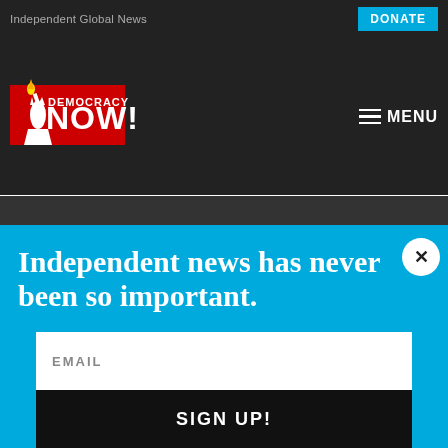Independent Global News
[Figure (logo): Democracy Now! logo — red text with Statue of Liberty torch graphic]
DONATE
MENU
Independent news has never been so important.
Did you know that you can get Democracy Now! delivered to your inbox every day? Sign up for our Daily News Digest today! Don't worry, we'll never share or sell your information.